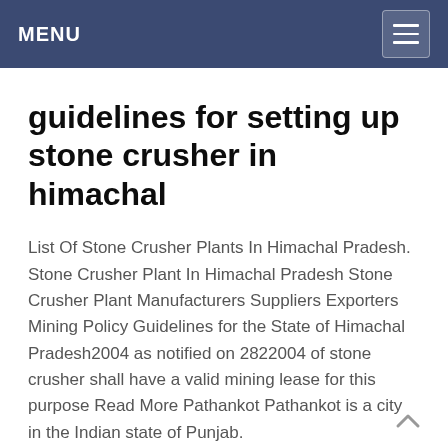MENU
guidelines for setting up stone crusher in himachal
List Of Stone Crusher Plants In Himachal Pradesh. Stone Crusher Plant In Himachal Pradesh Stone Crusher Plant Manufacturers Suppliers Exporters Mining Policy Guidelines for the State of Himachal Pradesh2004 as notified on 2822004 of stone crusher shall have a valid mining lease for this purpose Read More Pathankot Pathankot is a city in the Indian state of Punjab.